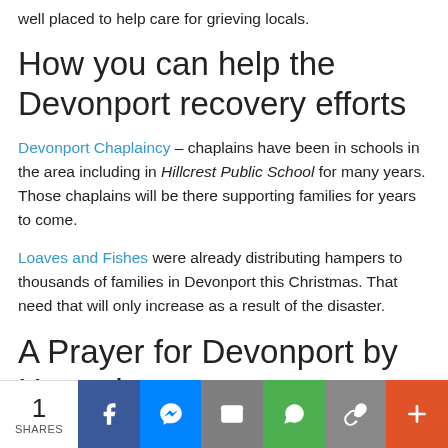well placed to help care for grieving locals.
How you can help the Devonport recovery efforts
Devonport Chaplaincy – chaplains have been in schools in the area including in Hillcrest Public School for many years. Those chaplains will be there supporting families for years to come.
Loaves and Fishes were already distributing hampers to thousands of families in Devonport this Christmas. That need that will only increase as a result of the disaster.
A Prayer for Devonport by Hannah
1 SHARES | Facebook | Messenger | Email | WhatsApp | Copy Link | More